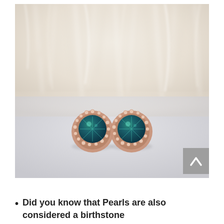[Figure (photo): Two round halo stud earrings with teal/dark green gemstones surrounded by small rose gold-set diamonds, photographed on a light surface with a blurred white fluffy background. A grey scroll-to-top button with a chevron arrow is overlaid in the bottom-right corner of the image.]
Did you know that Pearls are also considered a birthstone